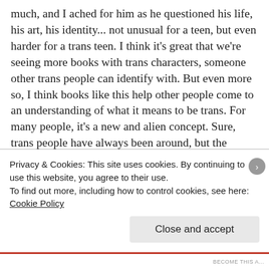much, and I ached for him as he questioned his life, his art, his identity... not unusual for a teen, but even harder for a trans teen. I think it's great that we're seeing more books with trans characters, someone other trans people can identify with. But even more so, I think books like this help other people come to an understanding of what it means to be trans. For many people, it's a new and alien concept. Sure, trans people have always been around, but the discussion has never been so open as it is now. I think books like this one are important in gaining a better understanding of other people. Diversity is something to be celebrated, not feared. What a boring world if we all thought and did the same things
Privacy & Cookies: This site uses cookies. By continuing to use this website, you agree to their use.
To find out more, including how to control cookies, see here: Cookie Policy
Close and accept